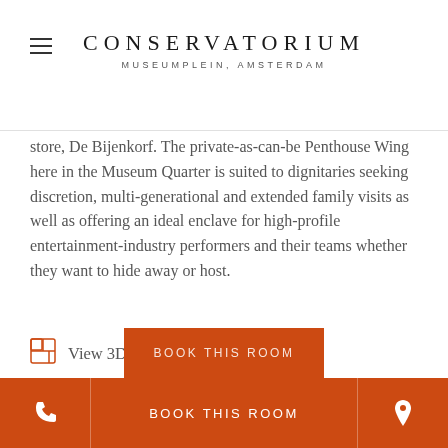CONSERVATORIUM
MUSEUMPLEIN, AMSTERDAM
store, De Bijenkorf. The private-as-can-be Penthouse Wing here in the Museum Quarter is suited to dignitaries seeking discretion, multi-generational and extended family visits as well as offering an ideal enclave for high-profile entertainment-industry performers and their teams whether they want to hide away or host.
View 3D Floor Plan
View Virtual Tour
BOOK THIS ROOM
BOOK THIS ROOM